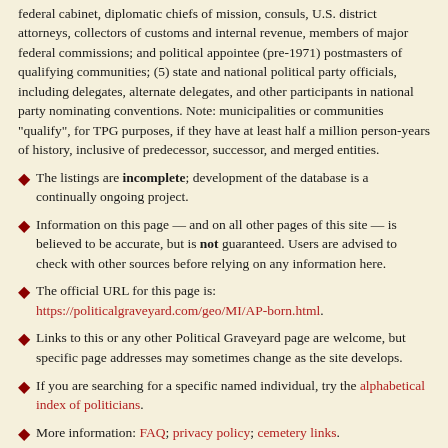federal cabinet, diplomatic chiefs of mission, consuls, U.S. district attorneys, collectors of customs and internal revenue, members of major federal commissions; and political appointee (pre-1971) postmasters of qualifying communities; (5) state and national political party officials, including delegates, alternate delegates, and other participants in national party nominating conventions. Note: municipalities or communities "qualify", for TPG purposes, if they have at least half a million person-years of history, inclusive of predecessor, successor, and merged entities.
The listings are incomplete; development of the database is a continually ongoing project.
Information on this page — and on all other pages of this site — is believed to be accurate, but is not guaranteed. Users are advised to check with other sources before relying on any information here.
The official URL for this page is: https://politicalgraveyard.com/geo/MI/AP-born.html.
Links to this or any other Political Graveyard page are welcome, but specific page addresses may sometimes change as the site develops.
If you are searching for a specific named individual, try the alphabetical index of politicians.
More information: FAQ; privacy policy; cemetery links.
If you find any error or omission in The Political Graveyard, or if you have information to share, please see the biographical checklist and submission guidelines.
Copyright notices: (1) Facts are not subject to copyright; see Feist v. Rural Telephone. (2) Politician portraits displayed on this site are 70-pixel-wide monochrome thumbnail images, which I believe to constitute fair use under applicable copyright law. Where possible, each image is linked to its online source. However, requests from owners of copyrighted images to delete them from this site are honored. (3) Original material, programming, selection and arrangement are © 1996-2019 Lawrence Kestenbaum. (4) This work is also